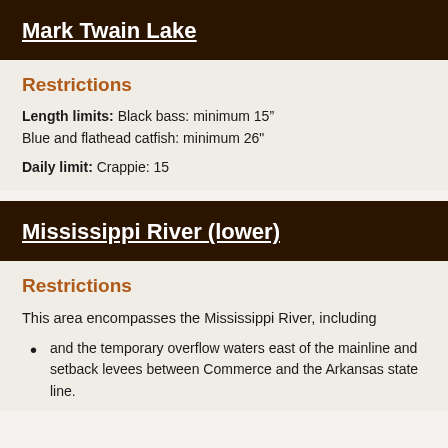Mark Twain Lake
Restrictions
Length limits: Black bass: minimum 15” Blue and flathead catfish: minimum 26"
Daily limit: Crappie: 15
Mississippi River (lower)
Restrictions
This area encompasses the Mississippi River, including
and the temporary overflow waters east of the mainline and setback levees between Commerce and the Arkansas state line.